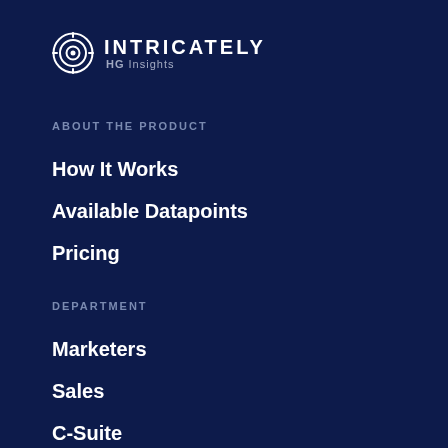[Figure (logo): Intricately HG Insights logo with circular target icon]
ABOUT THE PRODUCT
How It Works
Available Datapoints
Pricing
DEPARTMENT
Marketers
Sales
C-Suite
INDUSTRY
Cloud Hosting